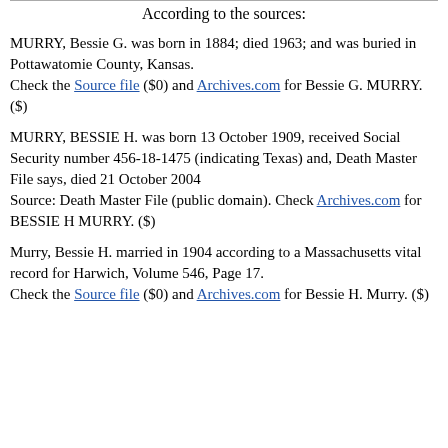According to the sources:
MURRY, Bessie G. was born in 1884; died 1963; and was buried in Pottawatomie County, Kansas. Check the Source file ($0) and Archives.com for Bessie G. MURRY. ($)
MURRY, BESSIE H. was born 13 October 1909, received Social Security number 456-18-1475 (indicating Texas) and, Death Master File says, died 21 October 2004 Source: Death Master File (public domain). Check Archives.com for BESSIE H MURRY. ($)
Murry, Bessie H. married in 1904 according to a Massachusetts vital record for Harwich, Volume 546, Page 17. Check the Source file ($0) and Archives.com for Bessie H. Murry. ($)